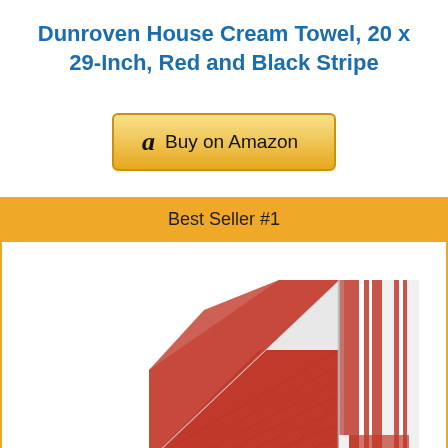Dunroven House Cream Towel, 20 x 29-Inch, Red and Black Stripe
[Figure (other): Buy on Amazon button with Amazon logo 'a' icon]
Best Seller #1
[Figure (photo): Product photo of a red and white striped kitchen/house towel folded diagonally, showing red check pattern on one end and white with red stripes on the other]